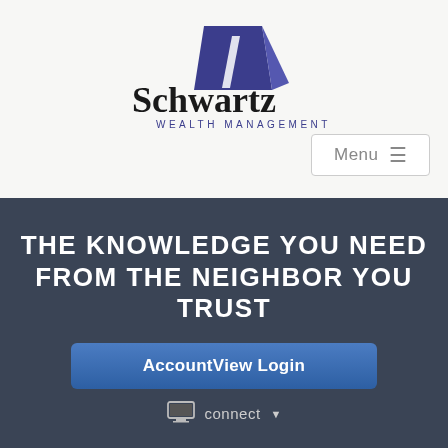[Figure (logo): Schwartz Wealth Management logo: blue triangle above the word Schwartz in large serif font, with WEALTH MANAGEMENT in small spaced caps below]
Menu ☰
THE KNOWLEDGE YOU NEED FROM THE NEIGHBOR YOU TRUST
AccountView Login
connect ▾